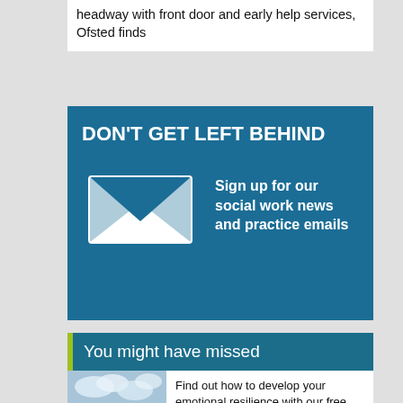headway with front door and early help services, Ofsted finds
[Figure (infographic): Blue banner advertisement with envelope icon. Title: DON'T GET LEFT BEHIND. Text: Sign up for our social work news and practice emails]
You might have missed
Find out how to develop your emotional resilience with our free downloadable guide
[Figure (photo): Person standing on a hill with cloudy sky background]